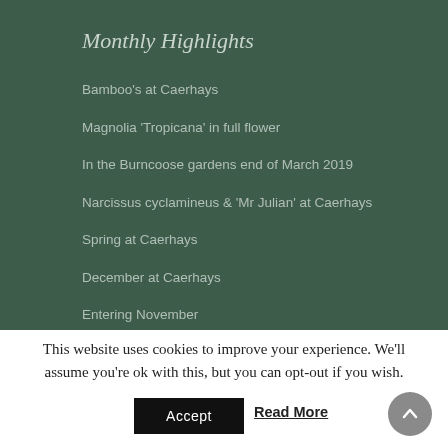Monthly Highlights
Bamboo's at Caerhays
Magnolia 'Tropicana' in full flower
In the Burncoose gardens end of March 2019
Narcissus cyclamineus & 'Mr Julian' at Caerhays
Spring at Caerhays
December at Caerhays
Entering November
This website uses cookies to improve your experience. We'll assume you're ok with this, but you can opt-out if you wish.
Accept
Read More